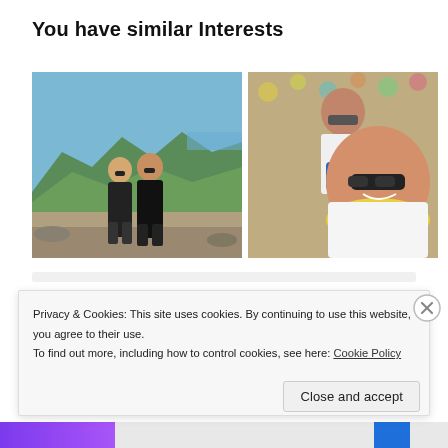You have similar Interests
[Figure (photo): Two women in black clothing standing outdoors on a rocky overlook with mountains and blue sky in the background]
[Figure (photo): Selfie photo of a woman wearing sunglasses and a yellow scarf with another woman smiling behind her on a carousel]
Privacy & Cookies: This site uses cookies. By continuing to use this website, you agree to their use.
To find out more, including how to control cookies, see here: Cookie Policy
Close and accept